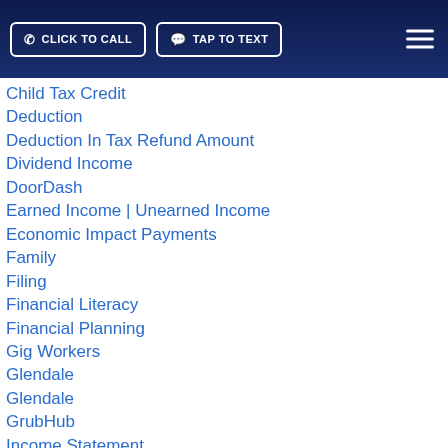CLICK TO CALL | TAP TO TEXT
Child Tax Credit
Deduction
Deduction In Tax Refund Amount
Dividend Income
DoorDash
Earned Income | Unearned Income
Economic Impact Payments
Family
Filing
Financial Literacy
Financial Planning
Gig Workers
Glendale
Glendale
GrubHub
Income Statement
Income Tax
In… Tax
In… Tax Return
Independent Contractor